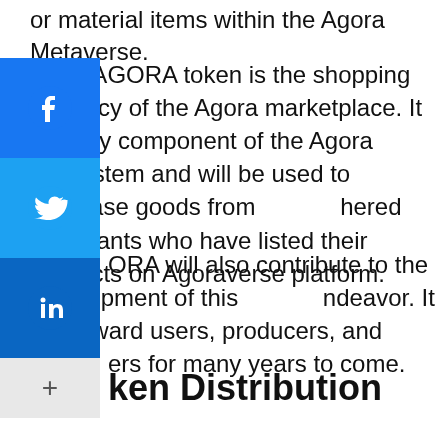or material items within the Agora Metaverse.
The $AGORA token is the shopping currency of the Agora marketplace. It is a key component of the Agora ecosystem and will be used to purchase goods from hered merchants who have listed their products on Agoraverse platform.
ORA will also contribute to the development of this ndeavor. It will reward users, producers, and ers for many years to come.
ken Distribution
Total supply: 1 000 000 000
Initial supply : 460 000 000 (46%)
Release timeline: 4 years